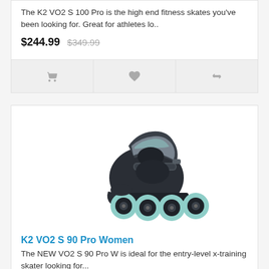The K2 VO2 S 100 Pro is the high end fitness skates you've been looking for. Great for athletes lo..
$244.99  $349.99
[Figure (screenshot): Action bar with cart, heart/wishlist, and compare icons]
[Figure (photo): K2 VO2 S 90 Pro Women inline skate with teal/mint wheels and dark boot]
K2 VO2 S 90 Pro Women
The NEW VO2 S 90 Pro W is ideal for the entry-level x-training skater looking for...